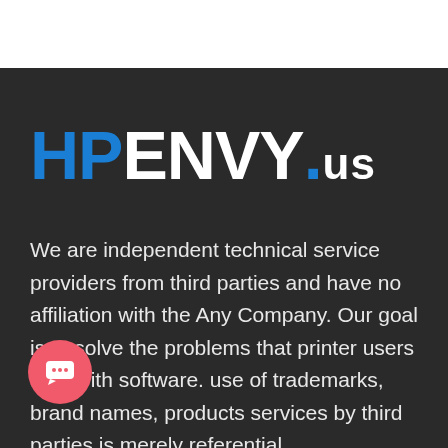[Figure (logo): HPENVY.us logo on dark background with HP in blue, ENVY in white, .us in white, dot in blue]
We are independent technical service providers from third parties and have no affiliation with the Any Company. Our goal is to solve the problems that printer users face with software. use of trademarks, brand names, products services by third parties is merely referential.